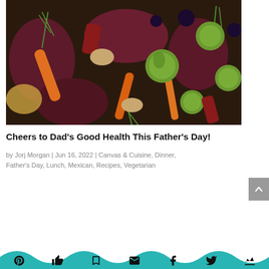[Figure (photo): Colorful roasted vegetables including carrots, beets, Brussels sprouts, and other vegetables arranged together, viewed from above.]
Cheers to Dad's Good Health This Father's Day!
by Jorj Morgan | Jun 16, 2022 | Canvas & Cuisine, Dinner, Father's Day, Lunch, Mexican, Recipes, Vegetarian